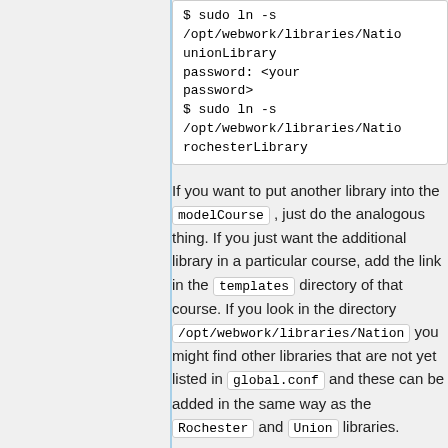$ sudo ln -s /opt/webwork/libraries/Natio
unionLibrary
password: <your
password>
$ sudo ln -s
/opt/webwork/libraries/Natio
rochesterLibrary
If you want to put another library into the modelCourse , just do the analogous thing. If you just want the additional library in a particular course, add the link in the templates directory of that course. If you look in the directory /opt/webwork/libraries/Nation you might find other libraries that are not yet listed in global.conf and these can be added in the same way as the Rochester and Union libraries.
Finally if you add a library with non-